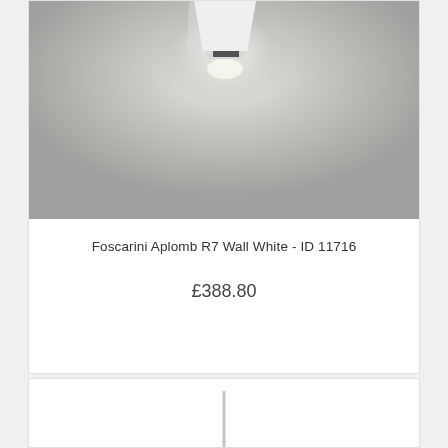[Figure (photo): Foscarini Aplomb R7 Wall White wall lamp mounted on a grey wall, casting a downward beam of light. The fixture is white, angular, geometric shape.]
Foscarini Aplomb R7 Wall White - ID 11716
£388.80
[Figure (photo): Bottom portion of a tall floor or pendant lamp with a thin vertical metal pole/rod, partially visible, cropped at the bottom of the page.]